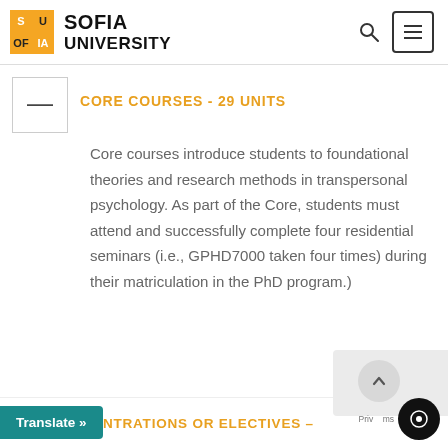[Figure (logo): Sofia University logo with yellow SU/OF/IA grid box and bold text 'SOFIA UNIVERSITY']
CORE COURSES - 29 UNITS
Core courses introduce students to foundational theories and research methods in transpersonal psychology. As part of the Core, students must attend and successfully complete four residential seminars (i.e., GPHD7000 taken four times) during their matriculation in the PhD program.)
CONCENTRATIONS OR ELECTIVES - [UNITS]